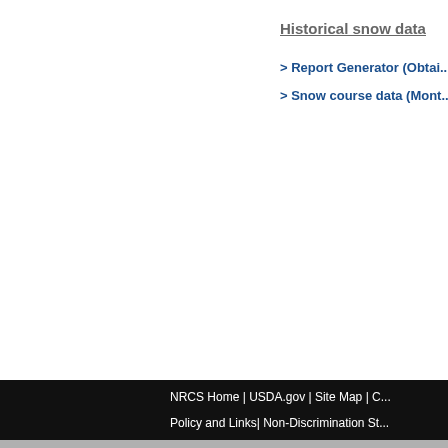Historical snow data
> Report Generator  (Obtain...
> Snow course data  (Mont...
NRCS Home | USDA.gov | Site Map | C...
Policy and Links| Non-Discrimination St...